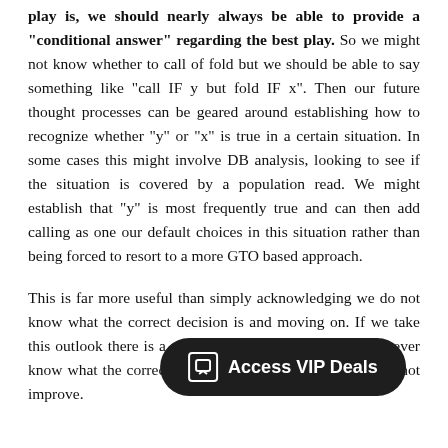play is, we should nearly always be able to provide a "conditional answer" regarding the best play. So we might not know whether to call of fold but we should be able to say something like "call IF y but fold IF x". Then our future thought processes can be geared around establishing how to recognize whether "y" or "x" is true in a certain situation. In some cases this might involve DB analysis, looking to see if the situation is covered by a population read. We might establish that "y" is most frequently true and can then add calling as one our default choices in this situation rather than being forced to resort to a more GTO based approach.

This is far more useful than simply acknowledging we do not know what the correct decision is and moving on. If we take this outlook there is a pretty decent chance that we will never know what the correct ... not improve.
[Figure (other): Dark rounded pill-shaped button overlay reading 'Access VIP Deals' with a chat/message icon on the left, displayed over the text.]